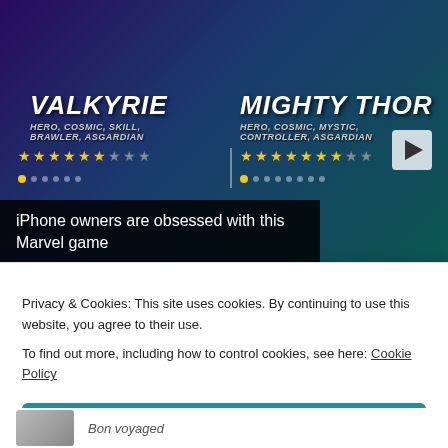[Figure (screenshot): Marvel Contest of Champions game ad showing Valkyrie and Mighty Thor characters with yellow star ratings, on a dark cosmic background with a play button]
iPhone owners are obsessed with this Marvel game
Almost Nobody Has Passed This Classic Logo Quiz
Privacy & Cookies: This site uses cookies. By continuing to use this website, you agree to their use.
To find out more, including how to control cookies, see here: Cookie Policy
Close and accept
Bon voyaged